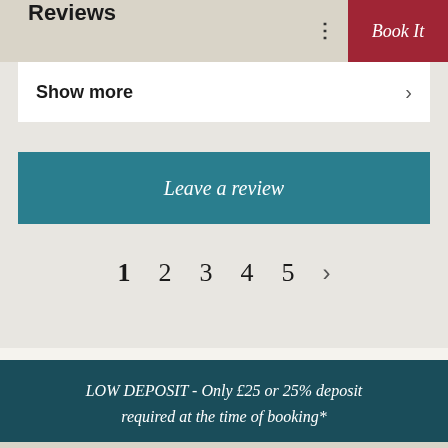Reviews
Show more
Leave a review
1  2  3  4  5  >
LOW DEPOSIT - Only £25 or 25% deposit required at the time of booking*